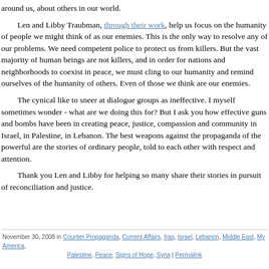around us, about others in our world.
Len and Libby Traubman, through their work, help us focus on the humanity of people we might think of as our enemies. This is the only way to resolve any of our problems. We need competent police to protect us from killers. But the vast majority of human beings are not killers, and in order for nations and neighborhoods to coexist in peace, we must cling to our humanity and remind ourselves of the humanity of others. Even of those we think are our enemies.
The cynical like to sneer at dialogue groups as ineffective. I myself sometimes wonder - what are we doing this for? But I ask you how effective guns and bombs have been in creating peace, justice, compassion and community in Israel, in Palestine, in Lebanon. The best weapons against the propaganda of the powerful are the stories of ordinary people, told to each other with respect and attention.
Thank you Len and Libby for helping so many share their stories in pursuit of reconciliation and justice.
November 30, 2008 in Counter Propaganda, Current Affairs, Iraq, Israel, Lebanon, Middle East, My America, Palestine, Peace, Signs of Hope, Syria | Permalink